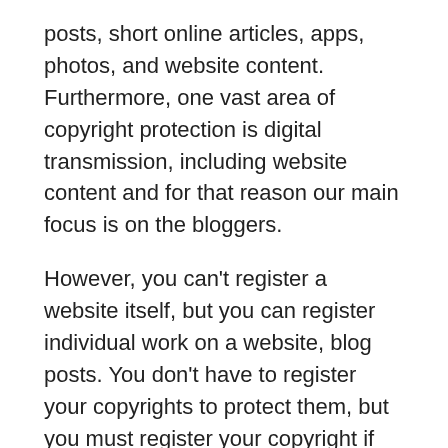posts, short online articles, apps, photos, and website content. Furthermore, one vast area of copyright protection is digital transmission, including website content and for that reason our main focus is on the bloggers.
However, you can't register a website itself, but you can register individual work on a website, blog posts. You don't have to register your copyrights to protect them, but you must register your copyright if you want to take a copyright violation lawsuit to court. Registering a copyright shows the court that you are serious about protecting your digital content.
If you've posted online and it's truly yours, then it's c [Light] [Dark] All genuine content published online is immediately protected under copyright thanks to the